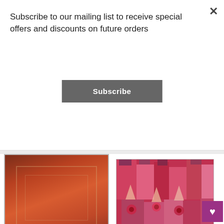Subscribe to our mailing list to receive special offers and discounts on future orders
Subscribe
[Figure (photo): Abstract red/orange geometric painting - White Framed Polyphonically by Paul Klee]
[Figure (photo): Colorful expressionist painting - The Rose Garden by Paul Klee]
[Figure (logo): Hot air balloon logo for Orenco Originals LLC]
White Framed Polyphonically by Expressionist Artist Paul Klee Counted Cross Stitch Pattern DIGITAL DOWNLOAD
Orenco Originals LLC
The Rose Garden by Expressionist Artist Paul Klee Counted Cross Stitch Pattern
Orenco Originals LLC
$ 13.99 USD  $ 9.79